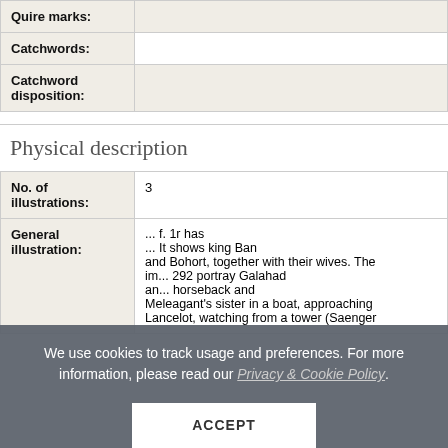| Field | Value |
| --- | --- |
| Quire marks: |  |
| Catchwords: |  |
| Catchword disposition: |  |
Physical description
| Field | Value |
| --- | --- |
| No. of illustrations: | 3 |
| General illustration: | ... f. 1r has ... It shows king Ban and Bohort, together with their wives. The im... 292 portray Galahad an... horseback and Meleagant's sister in a boat, approaching Lancelot, watching from a tower (Saenger... |
We use cookies to track usage and preferences. For more information, please read our Privacy & Cookie Policy.
ACCEPT